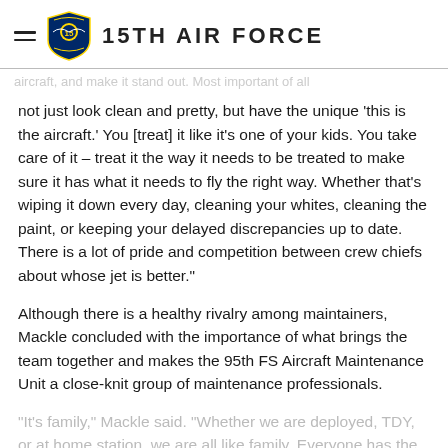15TH AIR FORCE
not just look clean and pretty, but have the unique ‘this is the aircraft.’ You [treat] it like it’s one of your kids. You take care of it – treat it the way it needs to be treated to make sure it has what it needs to fly the right way. Whether that's wiping it down every day, cleaning your whites, cleaning the paint, or keeping your delayed discrepancies up to date. There is a lot of pride and competition between crew chiefs about whose jet is better.”
Although there is a healthy rivalry among maintainers, Mackle concluded with the importance of what brings the team together and makes the 95th FS Aircraft Maintenance Unit a close-knit group of maintenance professionals.
“It’s family,” Mackle said. “Whether we are deployed, TDY, or at home station, we are all like family. Everyone has the bi…